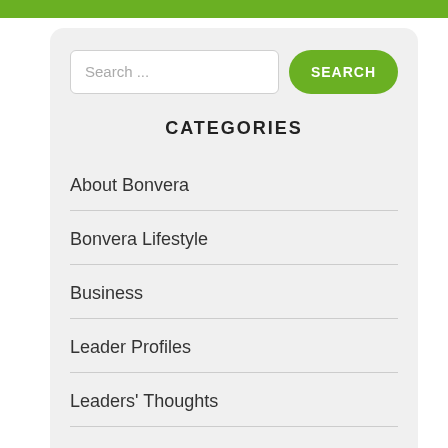[Figure (screenshot): Green navigation bar at top of page]
[Figure (screenshot): Search input field with placeholder text 'Search ...' and a green rounded SEARCH button]
CATEGORIES
About Bonvera
Bonvera Lifestyle
Business
Leader Profiles
Leaders' Thoughts
News